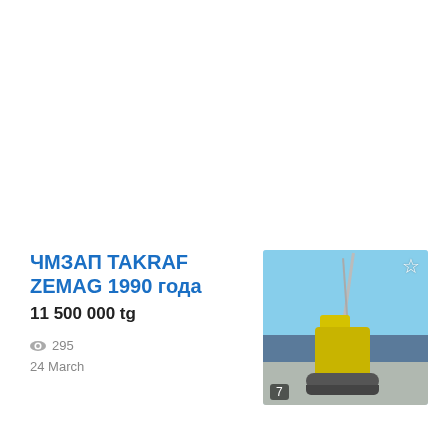ЧМЗАП TAKRAF ZEMAG 1990 года
11 500 000 tg
295
24 March
[Figure (photo): Photo of a large crawler crane (yellow and grey) with a tall lattice boom against a blue sky, with industrial buildings in the background. A star (favourite) icon is in the top-right corner and a badge showing '7' images is in the bottom-left corner.]